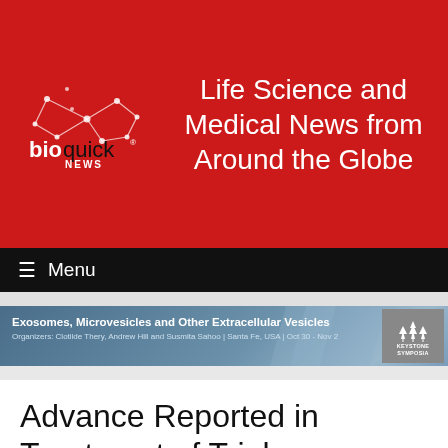[Figure (logo): BioQuick News logo with stylized molecule/network graphic on red background]
Life Science and Medical News from Around the Globe
≡ Menu
[Figure (infographic): Keystone Symposia banner: Exosomes, Microvesicles and Other Extracellular Vesicles. Organizers: Clotilde Thery, Andrew Hill and Susmita Sahoo | Santa Fe, USA | Oct 30 - Nov 2]
Advance Reported in Treatment of Triple-